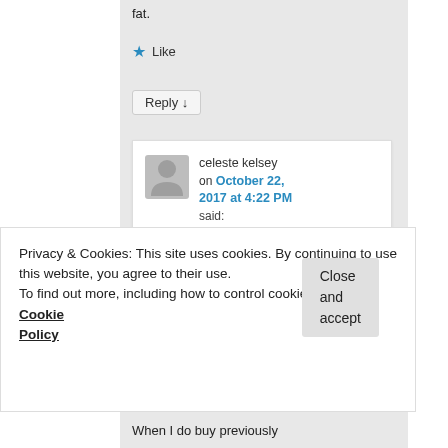fat.
★ Like
Reply ↓
celeste kelsey
on October 22, 2017 at 4:22 PM
said:
Thanks, Esmee…I am going to do some calculations. I really
Privacy & Cookies: This site uses cookies. By continuing to use this website, you agree to their use.
To find out more, including how to control cookies, see here: Cookie Policy
Close and accept
When I do buy previously